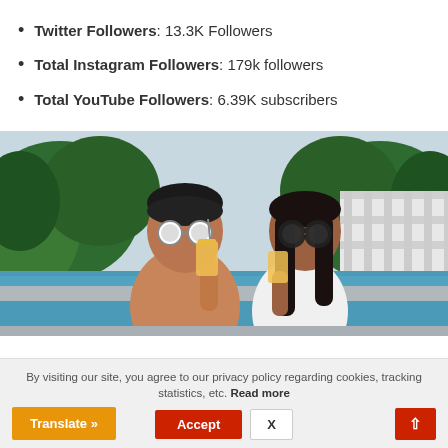Twitter Followers: 13.3K Followers
Total Instagram Followers: 179k followers
Total YouTube Followers: 6.39K subscribers
[Figure (photo): A man and woman wearing sunglasses sitting by a swimming pool, each drinking orange juice/cocktails. Lush green tropical foliage and a white fence in the background.]
By visiting our site, you agree to our privacy policy regarding cookies, tracking statistics, etc. Read more
Accept
X
Translate »